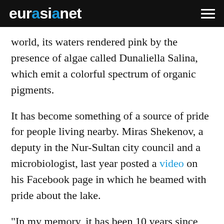eurasianet
world, its waters rendered pink by the presence of algae called Dunaliella Salina, which emit a colorful spectrum of organic pigments.
It has become something of a source of pride for people living nearby. Miras Shekenov, a deputy in the Nur-Sultan city council and a microbiologist, last year posted a video on his Facebook page in which he beamed with pride about the lake.
“In my memory, it has been 10 years since the lake last looked like this,” he said at the time.
“Travel around Kazakhstan, love your